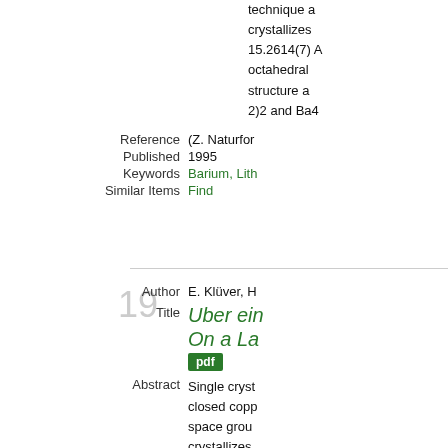technique a crystallizes 15.2614(7) A octahedral structure a 2)2 and Ba4
| Field | Value |
| --- | --- |
| Reference | (Z. Naturfor |
| Published | 1995 |
| Keywords | Barium, Lith |
| Similar Items | Find |
19
| Field | Value |
| --- | --- |
| Author | E. Klüver, H |
| Title | Uber ein / On a La |
| Abstract | Single cryst closed copp space grou crystallizes statistical d split positio |
| Reference | (Z. Naturfor |